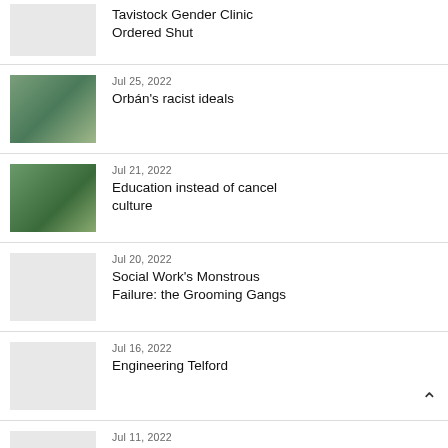Tavistock Gender Clinic Ordered Shut
Jul 25, 2022 — Orbán's racist ideals
Jul 21, 2022 — Education instead of cancel culture
Jul 20, 2022 — Social Work's Monstrous Failure: the Grooming Gangs
Jul 16, 2022 — Engineering Telford
Jul 11, 2022